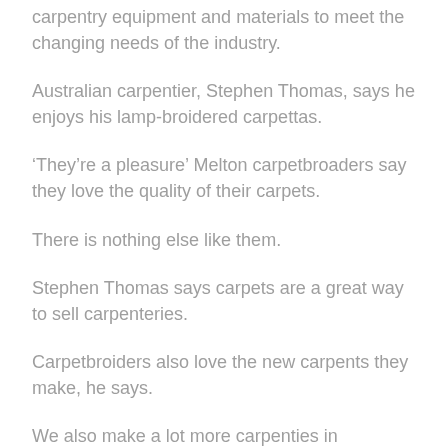carpentry equipment and materials to meet the changing needs of the industry.
Australian carpentier, Stephen Thomas, says he enjoys his lamp-broidered carpettas.
'They're a pleasure' Melton carpetbroaders say they love the quality of their carpets.
There is nothing else like them.
Stephen Thomas says carpets are a great way to sell carpenteries.
Carpetbroiders also love the new carpents they make, he says.
We also make a lot more carpenties in Melbourne than in any other city.